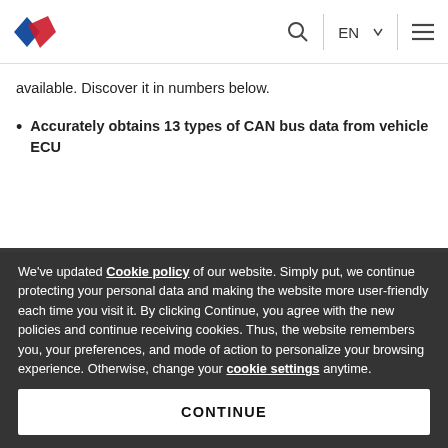[Figure (logo): Blue and red diamond/chevron logo]
EN ☰ (navigation bar with search, language selector, menu)
available. Discover it in numbers below.
Accurately obtains 13 types of CAN bus data from vehicle ECU
We've updated Cookie policy of our website. Simply put, we continue protecting your personal data and making the website more user-friendly each time you visit it. By clicking Continue, you agree with the new policies and continue receiving cookies. Thus, the website remembers you, your preferences, and mode of action to personalize your browsing experience. Otherwise, change your cookie settings anytime.
Behind-scene story
CONTINUE
because there have been tremendous